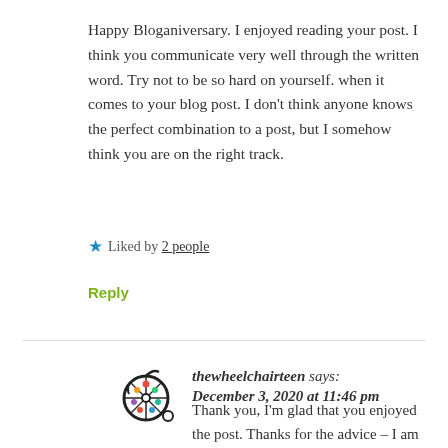Happy Bloganiversary. I enjoyed reading your post. I think you communicate very well through the written word. Try not to be so hard on yourself. when it comes to your blog post. I don't think anyone knows the perfect combination to a post, but I somehow think you are on the right track.
★ Liked by 2 people
Reply
thewheelchairteen says: December 3, 2020 at 11:46 pm
Thank you, I'm glad that you enjoyed the post. Thanks for the advice – I am trying to be less hard on myself. I think that writing down how